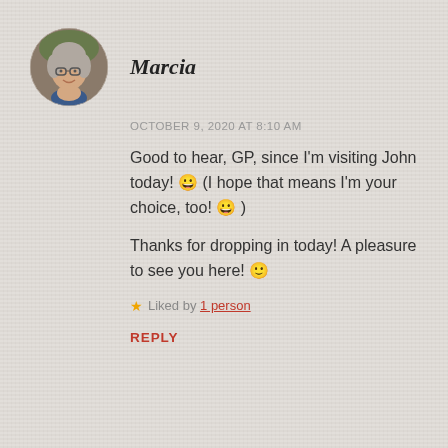[Figure (photo): Circular avatar photo of a woman with glasses, gray hair, smiling]
Marcia
OCTOBER 9, 2020 AT 8:10 AM
Good to hear, GP, since I'm visiting John today! 😀 (I hope that means I'm your choice, too! 😀 )
Thanks for dropping in today! A pleasure to see you here! 🙂
★ Liked by 1 person
REPLY